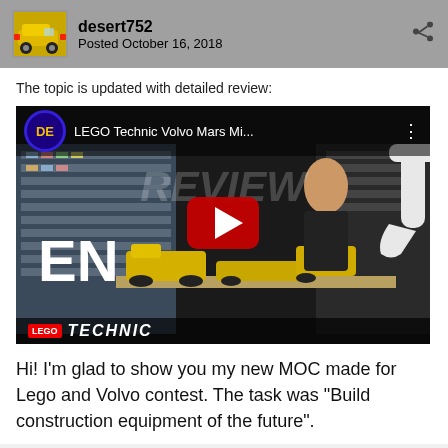desert752
Posted October 16, 2018
The topic is updated with detailed review:
[Figure (screenshot): YouTube video thumbnail for 'LEGO Technic Volvo Mars Mi...' review video showing a woman with yellow LEGO Technic models, with DE channel badge, EN language label, YouTube play button, and LEGO Technic branding at bottom.]
Hi! I'm glad to show you my new MOC made for Lego and Volvo contest. The task was “Build construction equipment of the future”.